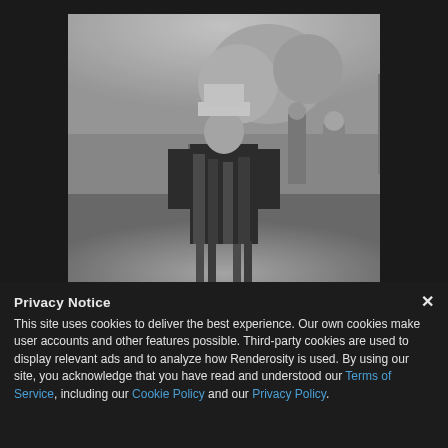[Figure (photo): Black and white photograph of a man wearing a cowboy hat and a decorated jacket/vest covered in badges or pins, standing in an outdoor public space with trees, balloons visible in the background, and other people walking around.]
Privacy Notice
This site uses cookies to deliver the best experience. Our own cookies make user accounts and other features possible. Third-party cookies are used to display relevant ads and to analyze how Renderosity is used. By using our site, you acknowledge that you have read and understood our Terms of Service, including our Cookie Policy and our Privacy Policy.